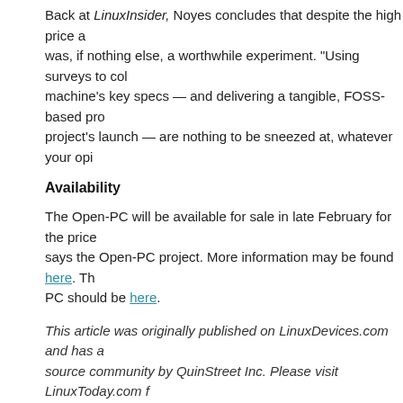Back at LinuxInsider, Noyes concludes that despite the high price a... was, if nothing else, a worthwhile experiment. "Using surveys to col... machine's key specs — and delivering a tangible, FOSS-based pro... project's launch — are nothing to be sneezed at, whatever your opi...
Availability
The Open-PC will be available for sale in late February for the price... says the Open-PC project. More information may be found here. Th... PC should be here.
This article was originally published on LinuxDevices.com and has ... source community by QuinStreet Inc. Please visit LinuxToday.com f... articles about Linux and open source.
Related Posts:
Sealed panel PC survives being dunked
Embedded PC is wall-mountable
Ubuntu-ready netbook moves to dual-core Atom
Smallest full-featured Linux PC ever?
Rugged industrial PC powered by Atom